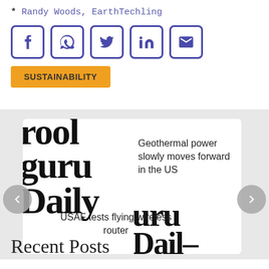* Randy Woods, EarthTechling
[Figure (infographic): Row of 5 social media sharing icons: Facebook, WhatsApp, Twitter, LinkedIn, Email — each in a blue-bordered rounded square button]
SUSTAINABILITY
[Figure (screenshot): A content slider showing two article previews: 'Geothermal power slowly moves forward in the US' and 'USAF tests flying wireless router', with Guru Daily logo text as background imagery and left/right navigation arrows]
Recent Posts